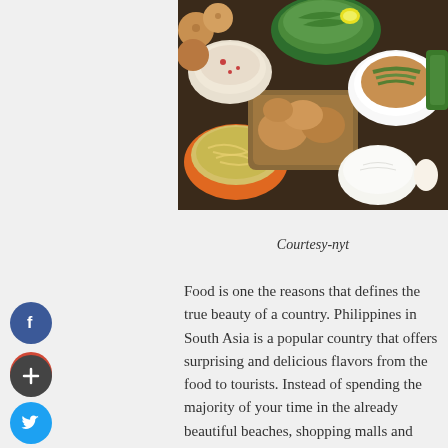[Figure (photo): Overhead view of a spread of Filipino food dishes including noodles, rice, chicken, fish, and various side dishes on a dark wooden table]
Courtesy-nyt
Food is one the reasons that defines the true beauty of a country. Philippines in South Asia is a popular country that offers surprising and delicious flavors from the food to tourists. Instead of spending the majority of your time in the already beautiful beaches, shopping malls and other activities, consider trying out some of the best food. These